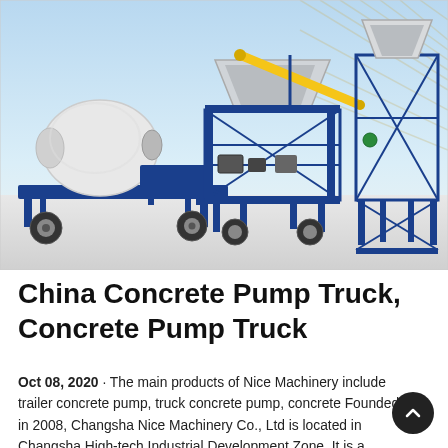[Figure (photo): A blue and white mobile concrete batching plant with a cement mixer drum on a wheeled trailer, connected to a feeding conveyor with yellow arm, and a blue steel aggregate hopper tower on the right, photographed against a light architectural background.]
China Concrete Pump Truck, Concrete Pump Truck
Oct 08, 2020 · The main products of Nice Machinery include trailer concrete pump, truck concrete pump, concrete Founded in 2008, Changsha Nice Machinery Co., Ltd is located in Changsha High-tech Industrial Development Zone. It is a modern enterprise integrating R&D, production, sales of concrete machinery. The company has a